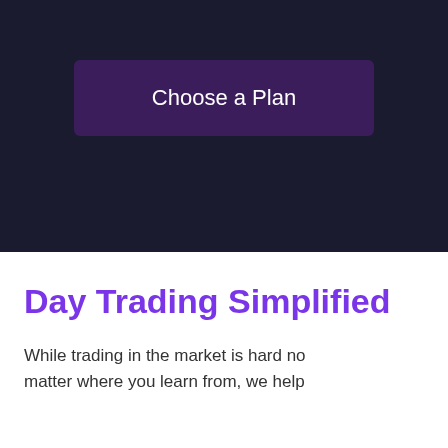Choose a Plan
Day Trading Simplified
While trading in the market is hard no matter where you learn from, we help